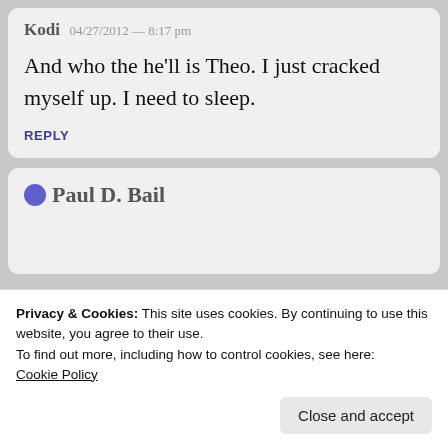Kodi  04/27/2012 — 8:17 pm
And who the he'll is Theo. I just cracked myself up. I need to sleep.
REPLY
Privacy & Cookies: This site uses cookies. By continuing to use this website, you agree to their use.
To find out more, including how to control cookies, see here: Cookie Policy
Close and accept